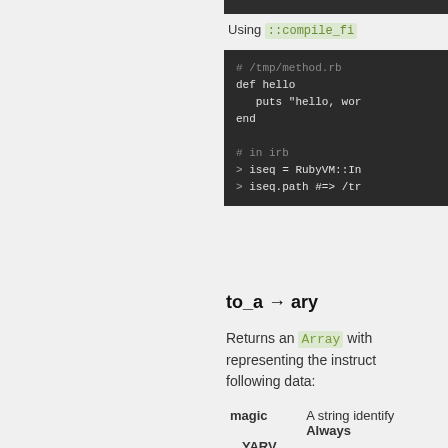[Figure (screenshot): Top dark bar at top of right column]
Using ::compile_fi
[Figure (screenshot): Dark code block showing Ruby code: # /tmp/method.rb, def hello, puts "hello, wor, end, # in irb, > iseq = RubyVM::In, > iseq.path #=> /tr]
to_a → ary
Returns an Array with representing the instruct following data:
|  |  |
| --- | --- |
| magic | A string identify Always |
| YARV |  |